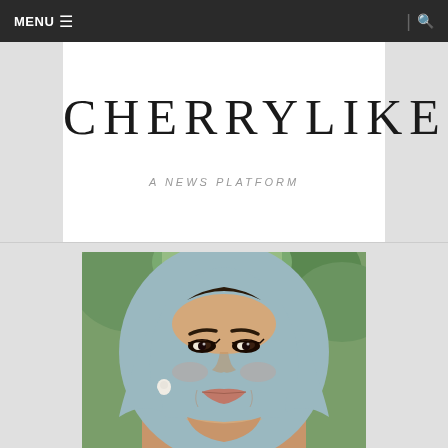MENU ☰  | 🔍
CHERRYLIKES
A NEWS PLATFORM
[Figure (photo): Close-up portrait photograph of a young woman wearing a light blue/grey hijab, with defined eyebrows, winged eyeliner, pearl earrings, smiling slightly. Green trees visible in the background.]